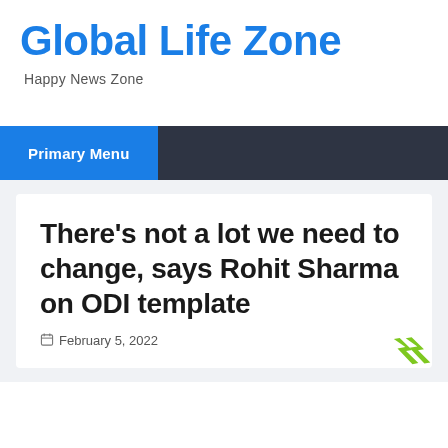Global Life Zone
Happy News Zone
Primary Menu
There’s not a lot we need to change, says Rohit Sharma on ODI template
February 5, 2022